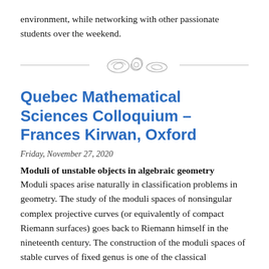environment, while networking with other passionate students over the weekend.
[Figure (illustration): Decorative divider with hand-drawn topological surface sketches (torus-like shapes) flanked by horizontal lines]
Quebec Mathematical Sciences Colloquium – Frances Kirwan, Oxford
Friday, November 27, 2020
Moduli of unstable objects in algebraic geometry
Moduli spaces arise naturally in classification problems in geometry. The study of the moduli spaces of nonsingular complex projective curves (or equivalently of compact Riemann surfaces) goes back to Riemann himself in the nineteenth century. The construction of the moduli spaces of stable curves of fixed genus is one of the classical